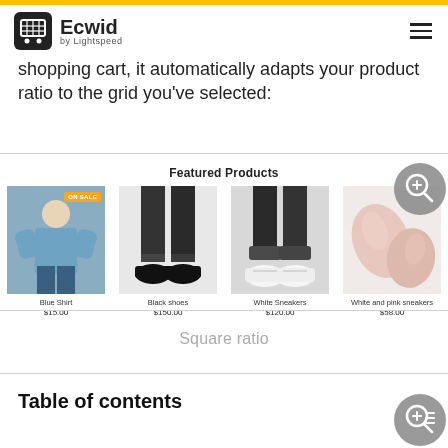Ecwid by Lightspeed
shopping cart, it automatically adapts your product ratio to the grid you've selected:
Featured Products
[Figure (screenshot): Product grid showing 4 products: Blue Shirt $15.00, Black shoes $150.00, White Sneakers $120.00, White and pink sneakers $58.00 with ON SALE badge on first item]
Square ratio
Table of contents